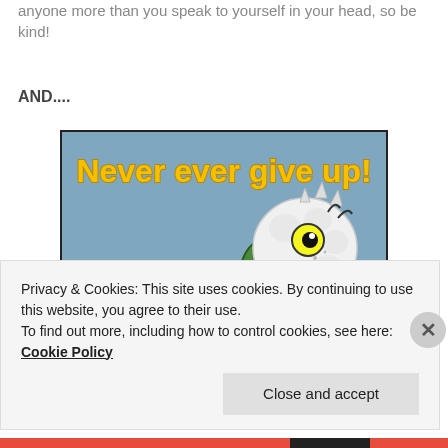anyone more than you speak to yourself in your head, so be kind!
AND....
[Figure (illustration): Cartoon illustration of a funny bird with a large yellow beak, white fluffy head with a wild yellow eye, green body, on a blue background. Text reads 'Never ever give up!' in yellow cartoon lettering at the top.]
Privacy & Cookies: This site uses cookies. By continuing to use this website, you agree to their use.
To find out more, including how to control cookies, see here: Cookie Policy
Close and accept